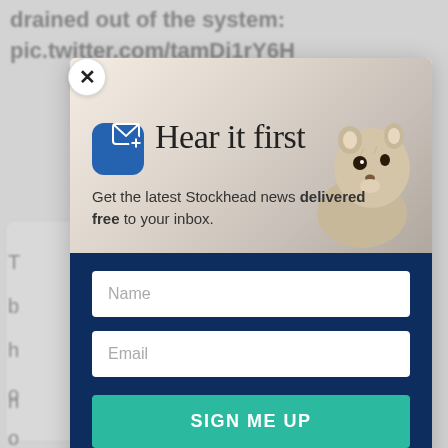drained out of the system:
pic.twitter.com/tamDj1rY6H
[Figure (screenshot): Email newsletter signup modal overlay with groundhog/prairie dog image background, blue envelope icon, headline 'Hear it first', subtext 'Get the latest Stockhead news delivered free to your inbox.', Name and Email input fields, and a teal SIGN ME UP button on dark navy background. Close X button in top-left corner.]